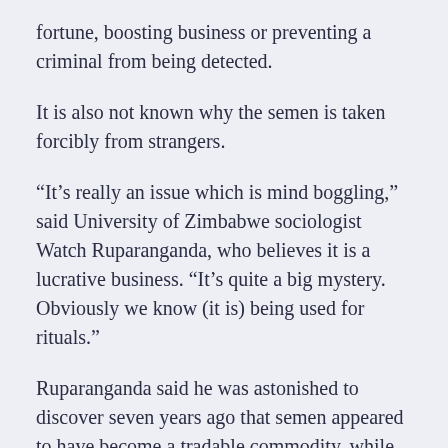fortune, boosting business or preventing a criminal from being detected.
It is also not known why the semen is taken forcibly from strangers.
“It’s really an issue which is mind boggling,” said University of Zimbabwe sociologist Watch Ruparanganda, who believes it is a lucrative business. “It’s quite a big mystery. Obviously we know (it is) being used for rituals.”
Ruparanganda said he was astonished to discover seven years ago that semen appeared to have become a tradable commodity, while doing research for his doctoral thesis among Harare street youth who told him that businessmen would take them to hotels, give